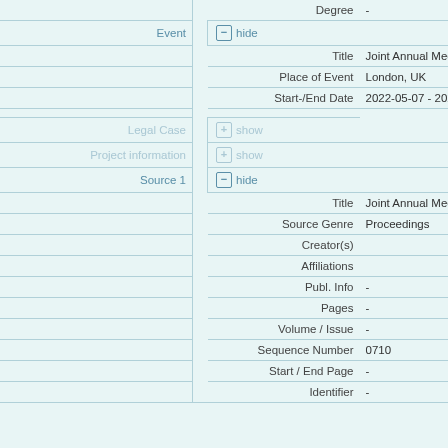| Label |  | Field | Value |
| --- | --- | --- | --- |
|  |  | Degree | - |
| Event | hide |  |  |
|  |  | Title | Joint Annual Meeting IS |
|  |  | Place of Event | London, UK |
|  |  | Start-/End Date | 2022-05-07 - 2022-05-1 |
| Legal Case | show |  |  |
| Project information | show |  |  |
| Source 1 | hide |  |  |
|  |  | Title | Joint Annual Meeting IS |
|  |  | Source Genre | Proceedings |
|  |  | Creator(s) |  |
|  |  | Affiliations |  |
|  |  | Publ. Info | - |
|  |  | Pages | - |
|  |  | Volume / Issue | - |
|  |  | Sequence Number | 0710 |
|  |  | Start / End Page | - |
|  |  | Identifier | - |